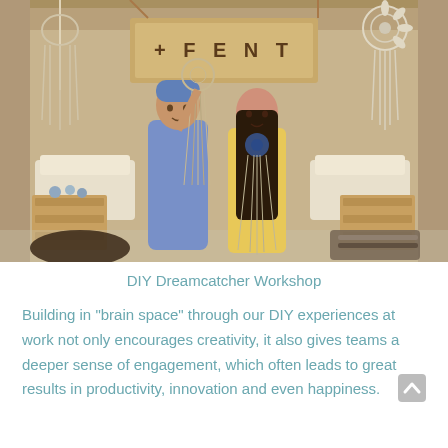[Figure (photo): Two women standing inside a bohemian festival tent decorated with macramé dreamcatchers and wall hangings. A wooden sign reading '+FENT' is visible in the background. One woman in a blue floral dress holds up a large dreamcatcher. The other wears an off-shoulder yellow top. Wooden crates, cushioned seating, and craft supplies are visible around them.]
DIY Dreamcatcher Workshop
Building in "brain space" through our DIY experiences at work not only encourages creativity, it also gives teams a deeper sense of engagement, which often leads to great results in productivity, innovation and even happiness.